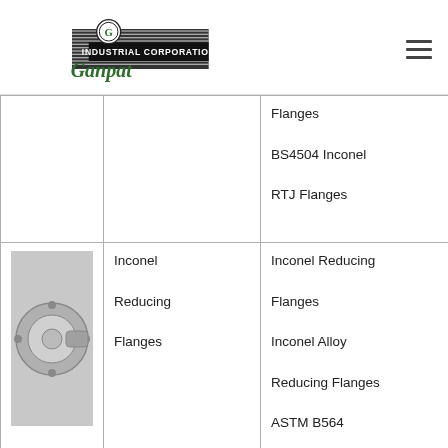Ganpat Industrial Corporation
|  |  | Flanges

BS4504 Inconel

RTJ Flanges |
| [image: reducing flange] | Inconel

Reducing

Flanges | Inconel Reducing

Flanges

Inconel Alloy

Reducing Flanges

ASTM B564 |